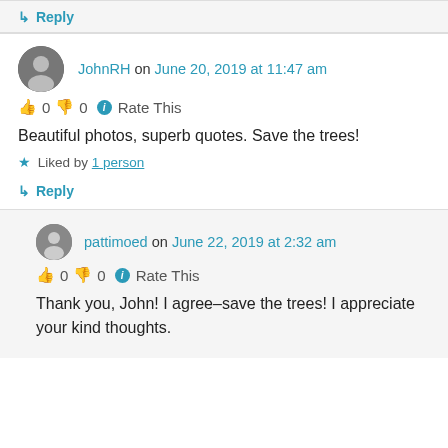↳ Reply
JohnRH on June 20, 2019 at 11:47 am
👍 0 👎 0 ℹ Rate This
Beautiful photos, superb quotes. Save the trees!
★ Liked by 1 person
↳ Reply
pattimoed on June 22, 2019 at 2:32 am
👍 0 👎 0 ℹ Rate This
Thank you, John! I agree–save the trees! I appreciate your kind thoughts.